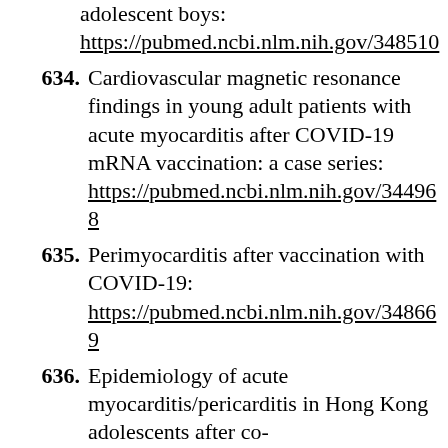adolescent boys: https://pubmed.ncbi.nlm.nih.gov/348510...
634. Cardiovascular magnetic resonance findings in young adult patients with acute myocarditis after COVID-19 mRNA vaccination: a case series: https://pubmed.ncbi.nlm.nih.gov/344968...
635. Perimyocarditis after vaccination with COVID-19: https://pubmed.ncbi.nlm.nih.gov/348669...
636. Epidemiology of acute myocarditis/pericarditis in Hong Kong adolescents after co-...